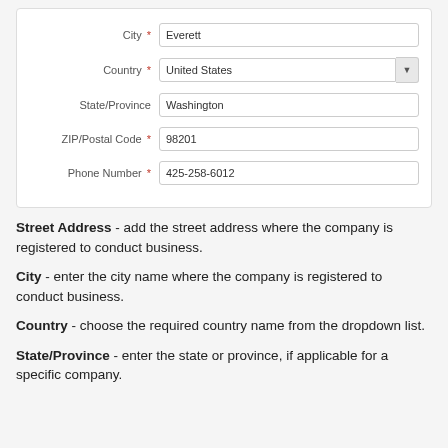[Figure (screenshot): Form screenshot showing fields: City (Everett), Country (United States, dropdown), State/Province (Washington), ZIP/Postal Code (98201), Phone Number (425-258-6012). Fields with red asterisks are required.]
Street Address - add the street address where the company is registered to conduct business.
City - enter the city name where the company is registered to conduct business.
Country - choose the required country name from the dropdown list.
State/Province - enter the state or province, if applicable for a specific company.